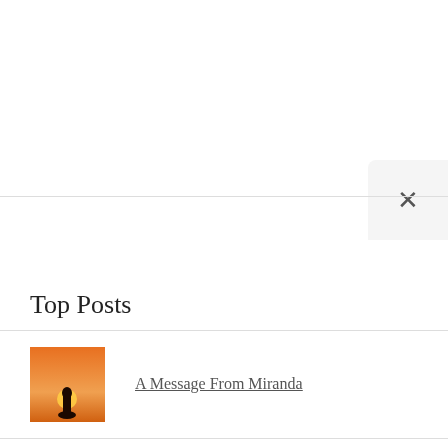[Figure (screenshot): A close button (×) in a light gray rounded box at the top right area of the page, indicating a dismissible UI panel.]
Top Posts
[Figure (photo): Thumbnail image of a silhouette of a person at sunset with an orange sky.]
A Message From Miranda
[Figure (photo): Thumbnail image of a woman holding a baby.]
How to Get Back into Shape After Having a Baby